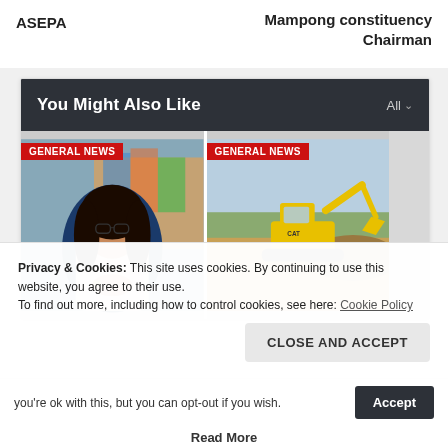ASEPA
Mampong constituency Chairman
You Might Also Like
[Figure (photo): Photo of a woman with glasses seated at a desk, with GENERAL NEWS badge overlay]
[Figure (photo): Photo of a yellow excavator on a construction site, with GENERAL NEWS badge overlay]
Privacy & Cookies: This site uses cookies. By continuing to use this website, you agree to their use.
To find out more, including how to control cookies, see here: Cookie Policy
CLOSE AND ACCEPT
you're ok with this, but you can opt-out if you wish.
Accept
Read More